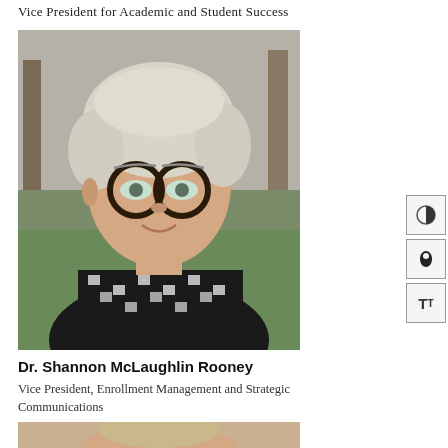Vice President for Academic and Student Success
[Figure (photo): Professional headshot of a woman with short light-colored hair and black round glasses, wearing a black and white houndstooth patterned top, photographed outdoors with green grass background.]
[Figure (other): Accessibility toolbar with contrast, color, and text resize buttons]
Dr. Shannon McLaughlin Rooney
Vice President, Enrollment Management and Strategic Communications
[Figure (photo): Partial view of another person's professional headshot, cropped at bottom of page.]